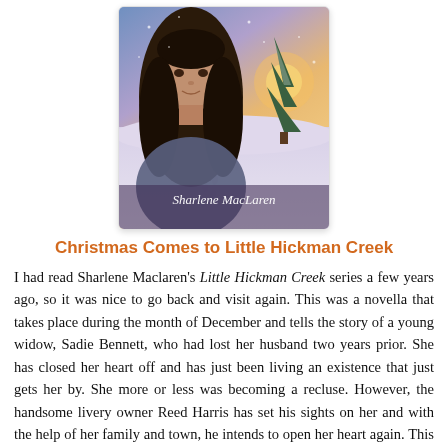[Figure (photo): Book cover of 'Christmas Comes to Little Hickman Creek' by Sharlene MacLaren. Shows a young woman with long dark hair against a winter snowy background with a pine tree and footprints in the snow, warm sunset colors.]
Christmas Comes to Little Hickman Creek
I had read Sharlene Maclaren's Little Hickman Creek series a few years ago, so it was nice to go back and visit again. This was a novella that takes place during the month of December and tells the story of a young widow, Sadie Bennett, who had lost her husband two years prior. She has closed her heart off and has just been living an existence that just gets her by. She more or less was becoming a recluse. However, the handsome livery owner Reed Harris has set his sights on her and with the help of her family and town, he intends to open her heart again. This was a sweet